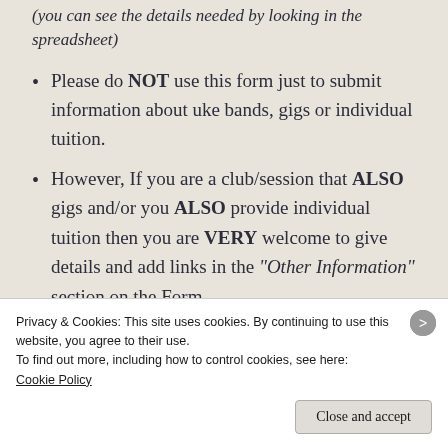(you can see the details needed by looking in the spreadsheet)
Please do NOT use this form just to submit information about uke bands, gigs or individual tuition.
However, If you are a club/session that ALSO gigs and/or you ALSO provide individual tuition then you are VERY welcome to give details and add links in the “Other Information” section on the Form.
Privacy & Cookies: This site uses cookies. By continuing to use this website, you agree to their use.
To find out more, including how to control cookies, see here:
Cookie Policy
Close and accept